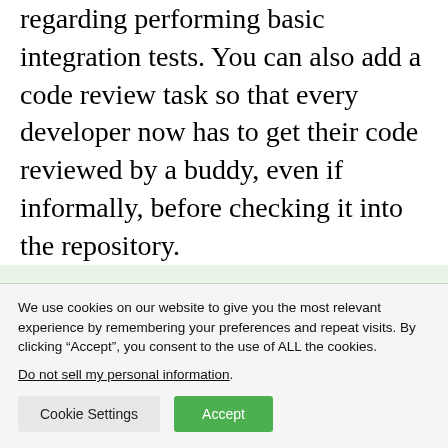regarding performing basic integration tests. You can also add a code review task so that every developer now has to get their code reviewed by a buddy, even if informally, before checking it into the repository.
Creating these tasks adds an
We use cookies on our website to give you the most relevant experience by remembering your preferences and repeat visits. By clicking “Accept”, you consent to the use of ALL the cookies.
Do not sell my personal information.